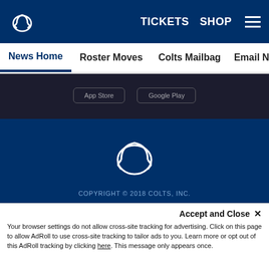TICKETS  SHOP
News Home  Roster Moves  Colts Mailbag  Email Newsletter  U
[Figure (logo): Indianapolis Colts horseshoe logo in top navigation bar (white on dark blue)]
[Figure (screenshot): Dark strip with app store download buttons (partially visible)]
[Figure (logo): Indianapolis Colts horseshoe logo large, white outline on dark blue footer background]
COPYRIGHT © 2018 COLTS, INC.
PRIVACY POLICY
ACCESSIBILITY
CONTACT US
SITE MAP
Accept and Close ✕
Your browser settings do not allow cross-site tracking for advertising. Click on this page to allow AdRoll to use cross-site tracking to tailor ads to you. Learn more or opt out of this AdRoll tracking by clicking here. This message only appears once.